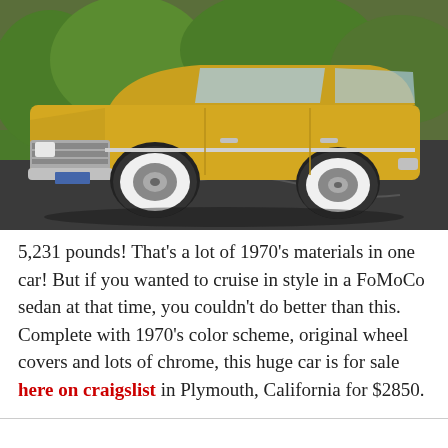[Figure (photo): A large yellow 1970s Lincoln Continental sedan parked on a dark asphalt road with green trees/grass in the background. The car is shown in a three-quarter front view highlighting its chrome bumper, whitewall tires, and wheel covers.]
5,231 pounds! That's a lot of 1970's materials in one car! But if you wanted to cruise in style in a FoMoCo sedan at that time, you couldn't do better than this. Complete with 1970's color scheme, original wheel covers and lots of chrome, this huge car is for sale here on craigslist in Plymouth, California for $2850.